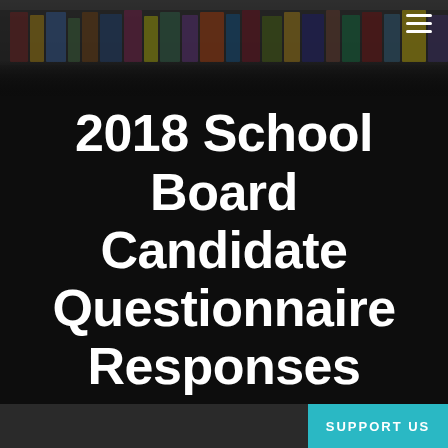[Figure (photo): Blurred photo of a library bookshelf with colorful books, dark/moody tone, used as a header background banner.]
2018 School Board Candidate Questionnaire Responses
SUPPORT US